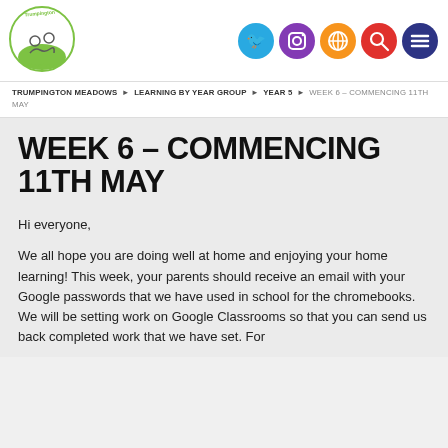[Figure (logo): Trumpington Meadows Primary School logo - circular green logo with two figures]
[Figure (infographic): Five social media icon circles: Twitter (blue), Instagram (purple), globe/location (orange), search (red), menu (dark blue/navy)]
TRUMPINGTON MEADOWS > LEARNING BY YEAR GROUP > YEAR 5 > WEEK 6 – COMMENCING 11TH MAY
WEEK 6 – COMMENCING 11TH MAY
Hi everyone,
We all hope you are doing well at home and enjoying your home learning! This week, your parents should receive an email with your Google passwords that we have used in school for the chromebooks. We will be setting work on Google Classrooms so that you can send us back completed work that we have set. For